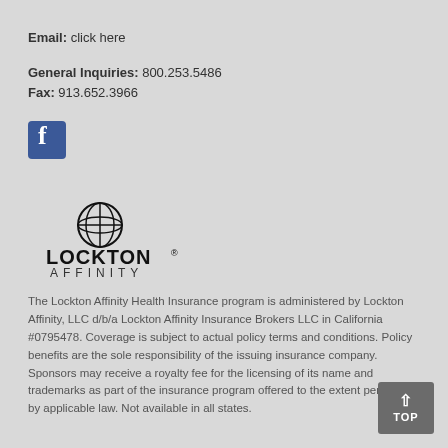Email: click here
General Inquiries: 800.253.5486
Fax: 913.652.3966
[Figure (logo): Facebook logo icon - blue square with white 'f']
[Figure (logo): Lockton Affinity logo - globe icon above LOCKTON text and AFFINITY text]
The Lockton Affinity Health Insurance program is administered by Lockton Affinity, LLC d/b/a Lockton Affinity Insurance Brokers LLC in California #0795478. Coverage is subject to actual policy terms and conditions. Policy benefits are the sole responsibility of the issuing insurance company. Sponsors may receive a royalty fee for the licensing of its name and trademarks as part of the insurance program offered to the extent permitted by applicable law. Not available in all states.